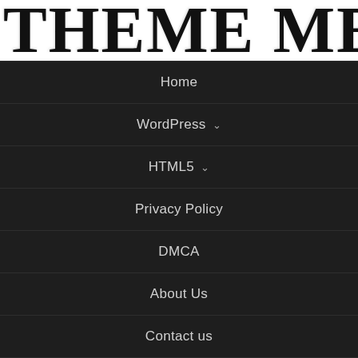THEME MEET
Home
WordPress ∨
HTML5 ∨
Privacy Policy
DMCA
About Us
Contact us
[Figure (other): Gray textured background section at the bottom of the page]